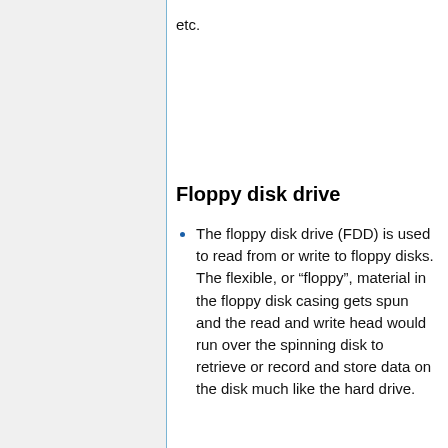etc.
Floppy disk drive
The floppy disk drive (FDD) is used to read from or write to floppy disks. The flexible, or “floppy”, material in the floppy disk casing gets spun and the read and write head would run over the spinning disk to retrieve or record and store data on the disk much like the hard drive.